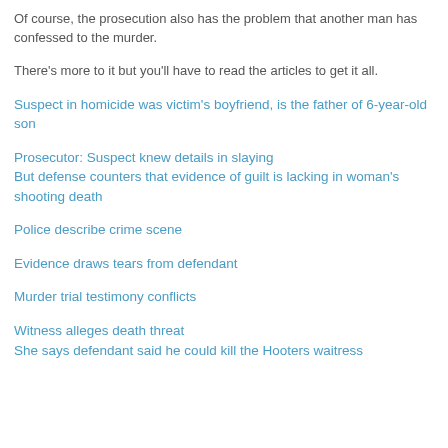Of course, the prosecution also has the problem that another man has confessed to the murder.
There's more to it but you'll have to read the articles to get it all.
Suspect in homicide was victim's boyfriend, is the father of 6-year-old son
Prosecutor: Suspect knew details in slaying
But defense counters that evidence of guilt is lacking in woman's shooting death
Police describe crime scene
Evidence draws tears from defendant
Murder trial testimony conflicts
Witness alleges death threat
She says defendant said he could kill the Hooters waitress